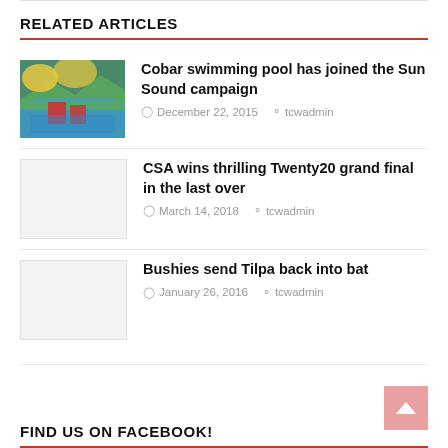RELATED ARTICLES
[Figure (photo): Photo of Cobar swimming pool with two people standing near the pool area under shade sails]
Cobar swimming pool has joined the Sun Sound campaign
December 22, 2015  tcwadmin
[Figure (photo): Placeholder image (light gray) for CSA Twenty20 article]
CSA wins thrilling Twenty20 grand final in the last over
March 14, 2018  tcwadmin
[Figure (photo): Placeholder image (light gray) for Bushies Tilpa article]
Bushies send Tilpa back into bat
January 26, 2016  tcwadmin
FIND US ON FACEBOOK!